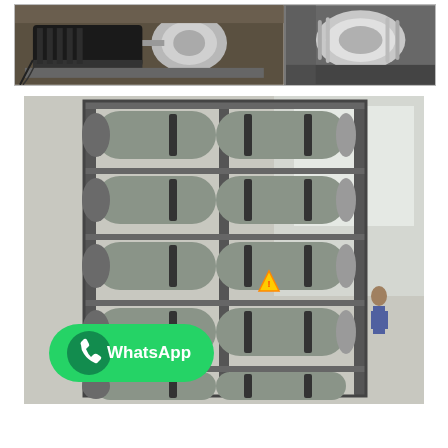[Figure (photo): Two side-by-side photos of industrial pump equipment: left shows a black motor/pump unit on a concrete floor; right shows a stainless steel pump or filter housing close-up.]
[Figure (photo): Large photo of an industrial reverse osmosis (RO) membrane rack system in a factory, with multiple grey cylindrical membrane tubes arranged in rows on a metal frame structure. A WhatsApp contact badge overlays the bottom-left corner.]